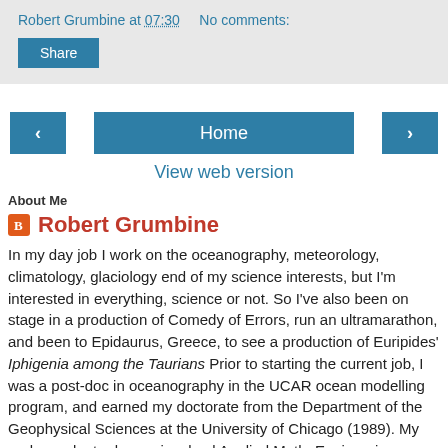Robert Grumbine at 07:30   No comments:
Share
‹   Home   ›
View web version
About Me
Robert Grumbine
In my day job I work on the oceanography, meteorology, climatology, glaciology end of my science interests, but I'm interested in everything, science or not. So I've also been on stage in a production of Comedy of Errors, run an ultramarathon, and been to Epidaurus, Greece, to see a production of Euripides' Iphigenia among the Taurians Prior to starting the current job, I was a post-doc in oceanography in the UCAR ocean modelling program, and earned my doctorate from the Department of the Geophysical Sciences at the University of Chicago (1989). My undergraduate degree involved Applied Math, Engineering, Astrophysics, and Glaciology. Of course